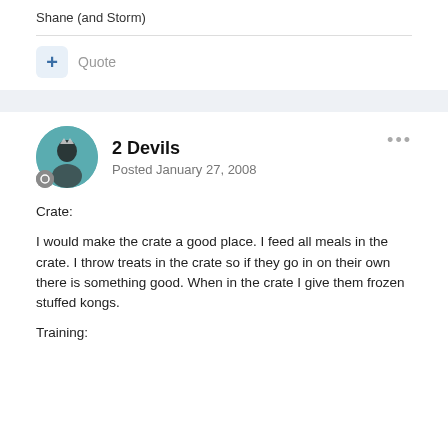Shane (and Storm)
Quote
2 Devils
Posted January 27, 2008
Crate:
I would make the crate a good place. I feed all meals in the crate. I throw treats in the crate so if they go in on their own there is something good. When in the crate I give them frozen stuffed kongs.
Training: